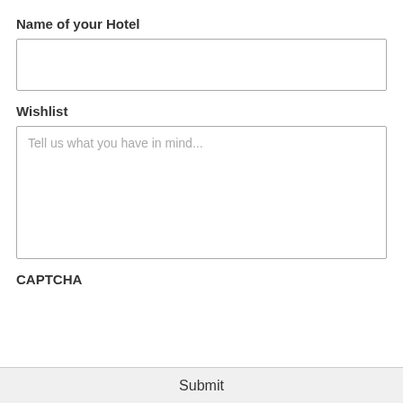Name of your Hotel
[Figure (other): Text input field for hotel name]
Wishlist
[Figure (other): Textarea with placeholder text: Tell us what you have in mind...]
CAPTCHA
[Figure (other): CAPTCHA widget area (empty)]
Submit